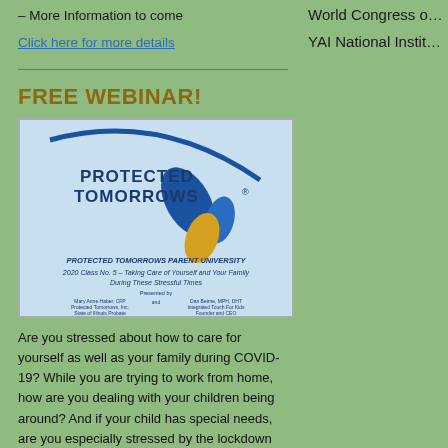– More Information to come
Click here for more details
FREE WEBINAR!
[Figure (logo): Protected Tomorrows logo and webinar flyer: PROTECTED TOMORROWS PARENT UNIVERSITY 2020 Class No. 5 – Taking Care of Yourself and Your Family During These Stressful Times]
Are you stressed about how to care for yourself as well as your family during COVID-19? While you are trying to work from home, how are you dealing with your children being around? And if your child has special needs, are you especially stressed by the lockdown and change in routine? A distinguished expert
World Congress o… YAI National Instit…